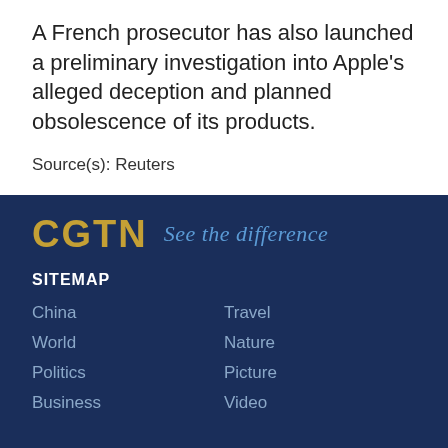A French prosecutor has also launched a preliminary investigation into Apple's alleged deception and planned obsolescence of its products.
Source(s): Reuters
[Figure (logo): CGTN logo with tagline 'See the difference' on dark navy background]
SITEMAP
China
Travel
World
Nature
Politics
Picture
Business
Video